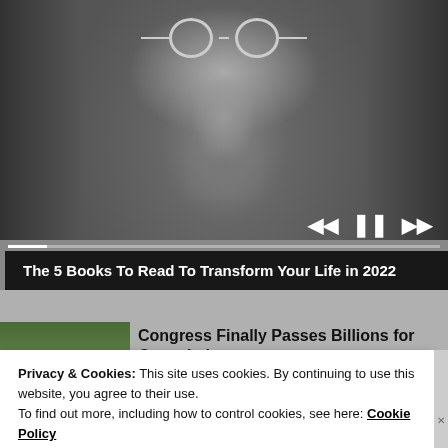[Figure (screenshot): Black and white close-up photo of a man with long hair, round glasses, and a beard. A media player progress bar and playback controls (skip back, pause, skip forward) are visible at the bottom of the image.]
The 5 Books To Read To Transform Your Life in 2022
[Figure (photo): Thumbnail image showing a Camp Lejeune sign surrounded by trees, with a dark red sign reading 'CAMP LEJEUNE' at the bottom.]
Congress Finally Passes Billions for Camp Lejeune
Privacy & Cookies: This site uses cookies. By continuing to use this website, you agree to their use.
To find out more, including how to control cookies, see here: Cookie Policy
Close and accept